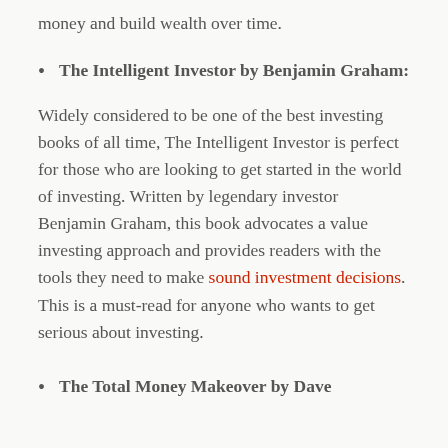money and build wealth over time.
The Intelligent Investor by Benjamin Graham:
Widely considered to be one of the best investing books of all time, The Intelligent Investor is perfect for those who are looking to get started in the world of investing. Written by legendary investor Benjamin Graham, this book advocates a value investing approach and provides readers with the tools they need to make sound investment decisions. This is a must-read for anyone who wants to get serious about investing.
The Total Money Makeover by Dave